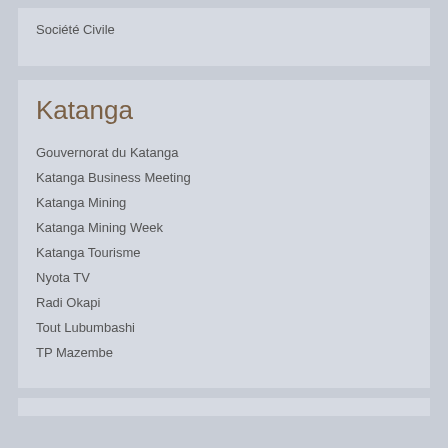Société Civile
Katanga
Gouvernorat du Katanga
Katanga Business Meeting
Katanga Mining
Katanga Mining Week
Katanga Tourisme
Nyota TV
Radi Okapi
Tout Lubumbashi
TP Mazembe